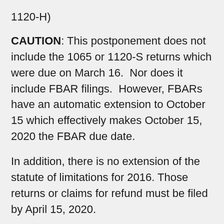1120-H)
CAUTION: This postponement does not include the 1065 or 1120-S returns which were due on March 16.  Nor does it include FBAR filings.  However, FBARs have an automatic extension to October 15 which effectively makes October 15, 2020 the FBAR due date.
In addition, there is no extension of the statute of limitations for 2016. Those returns or claims for refund must be filed by April 15, 2020.
Payment Due Date Postponement:
Any payments that would have been due on April 15, 2020 for the returns listed above are also postponed to July 15, 2020. This includes self-